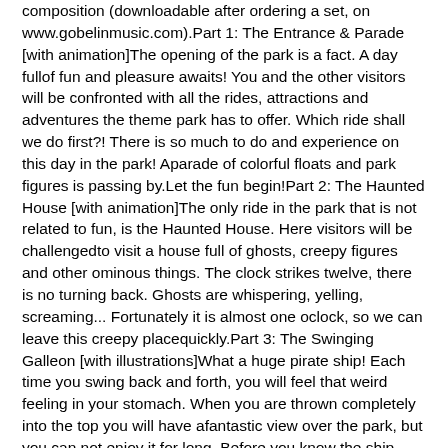composition (downloadable after ordering a set, on www.gobelinmusic.com).Part 1: The Entrance & Parade [with animation]The opening of the park is a fact. A day fullof fun and pleasure awaits! You and the other visitors will be confronted with all the rides, attractions and adventures the theme park has to offer. Which ride shall we do first?! There is so much to do and experience on this day in the park! Aparade of colorful floats and park figures is passing by.Let the fun begin!Part 2: The Haunted House [with animation]The only ride in the park that is not related to fun, is the Haunted House. Here visitors will be challengedto visit a house full of ghosts, creepy figures and other ominous things. The clock strikes twelve, there is no turning back. Ghosts are whispering, yelling, screaming... Fortunately it is almost one oclock, so we can leave this creepy placequickly.Part 3: The Swinging Galleon [with illustrations]What a huge pirate ship! Each time you swing back and forth, you will feel that weird feeling in your stomach. When you are thrown completely into the top you will have afantastic view over the park, but you can not enjoy it for long. Before you know the ship swings back the other way.Part 4: The Fairy Tale Ride [with illustrations]After all those exciting and spectacular rides and attractions, it is time for a peaceful tour in The Fairy Tale Ride. Surrounded by a fairytale setting, you will discover fable figures, talking animals and colorful designs. Such a beauty and tranquility. Having had this experience, we are ready again for